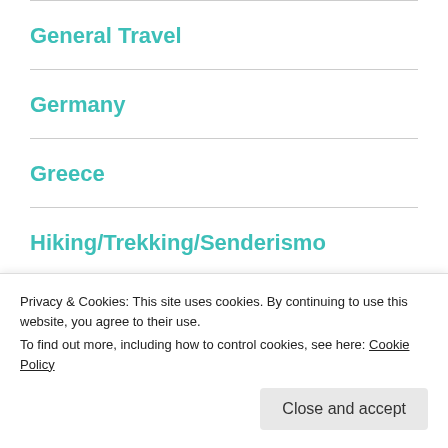General Travel
Germany
Greece
Hiking/Trekking/Senderismo
Iciar Bollaín
Illa...
Privacy & Cookies: This site uses cookies. By continuing to use this website, you agree to their use.
To find out more, including how to control cookies, see here: Cookie Policy
Close and accept